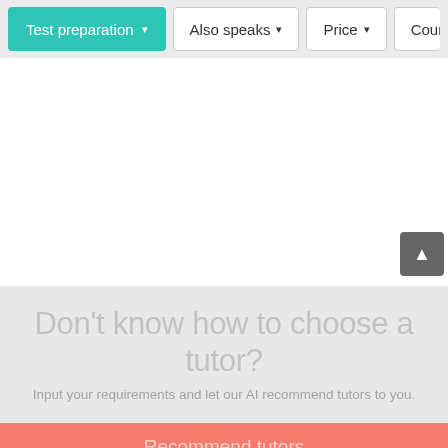Test preparation | Also speaks | Price | Course
Don't know how to choose a tutor?
Input your requirements and let our AI recommend tutors to you.
Recommend tutors
Start selecting your tutors